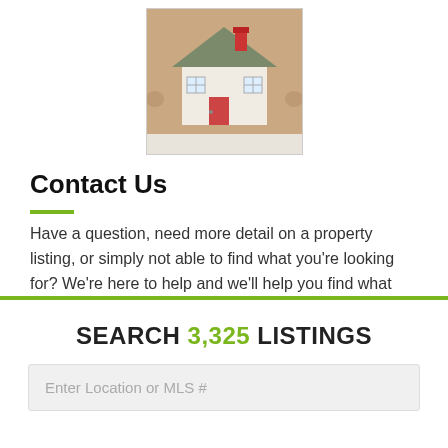[Figure (photo): Hands holding a small model house with green roof and red chimney]
Contact Us
Have a question, need more detail on a property listing, or simply not able to find what you're looking for? We're here to help and we'll help you find what you need. Go to CONTACT US
SEARCH 3,325 LISTINGS
Enter Location or MLS #